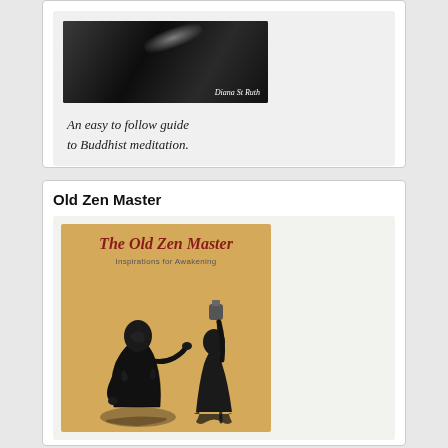[Figure (illustration): Book cover showing dark/black cover with author name 'Diana St Ruth' and subtitle text 'An easy to follow guide to Buddhist meditation.' in italic serif font on gray background card]
Old Zen Master
[Figure (illustration): Book cover of 'The Old Zen Master: Inspirations for Awakening' with beige/cream background, red italic title text, and black ink brush-style illustration of two robed figures (monks) - one seated, one standing with a staff]